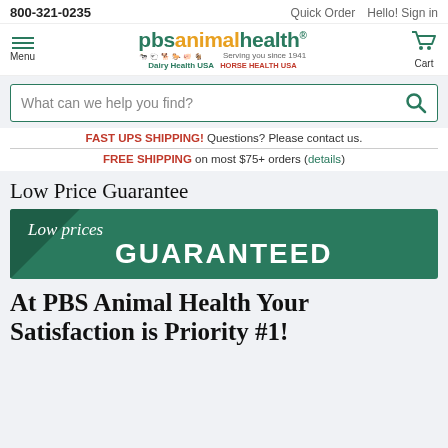800-321-0235   Quick Order   Hello! Sign in
[Figure (logo): PBS Animal Health logo with tagline 'Serving you since 1941', Dairy Health USA and Horse Health USA sub-brands, menu icon and cart icon]
What can we help you find?
FAST UPS SHIPPING! Questions? Please contact us.
FREE SHIPPING on most $75+ orders (details)
Low Price Guarantee
[Figure (illustration): Green banner with 'Low prices GUARANTEED' text in white, script and bold styles]
At PBS Animal Health Your Satisfaction is Priority #1!